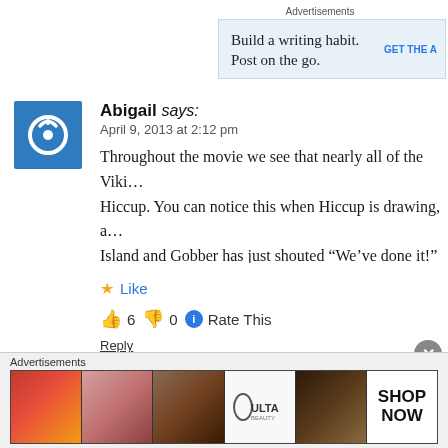Advertisements
[Figure (screenshot): Advertisement banner: 'Build a writing habit. Post on the go.' with 'GET THE A' link on right, light blue background]
[Figure (photo): User avatar: blue square with white power/circle icon]
Abigail says:
April 9, 2013 at 2:12 pm
Throughout the movie we see that nearly all of the Viki... Hiccup. You can notice this when Hiccup is drawing, a... Island and Gobber has just shouted “We’ve done it!” M... left hand in the air. That’s comforting as a leftie myself
Like
6  0  Rate This
Reply
Advertisements
[Figure (photo): ULTA beauty advertisement banner with makeup/beauty images and SHOP NOW text]